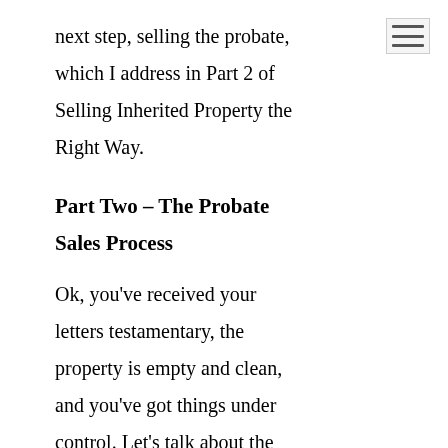next step, selling the probate, which I address in Part 2 of Selling Inherited Property the Right Way.
Part Two – The Probate Sales Process
Ok, you've received your letters testamentary, the property is empty and clean, and you've got things under control. Let's talk about the selling process. By the way, the process is similar if it is a trust sale or a conservatorship. The same